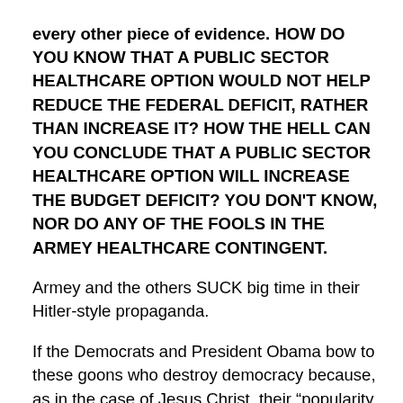every other piece of evidence.  HOW DO YOU KNOW THAT A PUBLIC SECTOR HEALTHCARE OPTION WOULD NOT HELP REDUCE THE FEDERAL DEFICIT, RATHER THAN INCREASE IT?  HOW THE HELL CAN YOU CONCLUDE THAT A PUBLIC SECTOR HEALTHCARE OPTION WILL INCREASE THE BUDGET DEFICIT?  YOU DON'T KNOW, NOR DO ANY OF THE FOOLS IN THE ARMEY HEALTHCARE CONTINGENT.
Armey and the others SUCK big time in their Hitler-style propaganda.
If the Democrats and President Obama bow to these goons who destroy democracy because, as in the case of Jesus Christ, their “popularity was waning,” then they are bowing to mob violence in this nation.
Democracy in this nation does not mean...